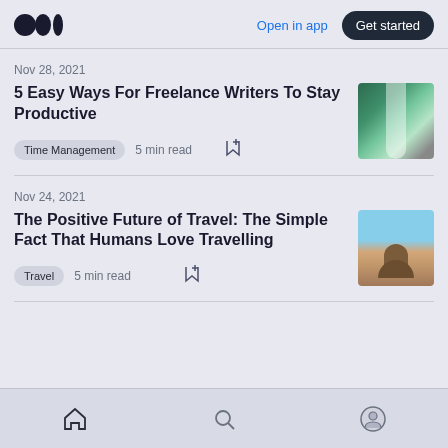Medium logo | Open in app | Get started
Nov 28, 2021
5 Easy Ways For Freelance Writers To Stay Productive
Time Management  5 min read
[Figure (photo): Waterfall in green forest]
Nov 24, 2021
The Positive Future of Travel: The Simple Fact That Humans Love Travelling
Travel  5 min read
[Figure (photo): Two people sitting on sandy ground with tents or camels in desert landscape]
Home | Search | Profile